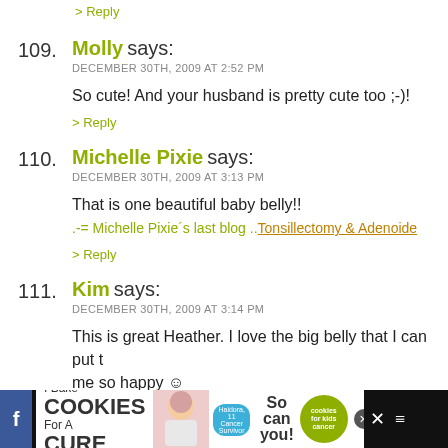> Reply
109. Molly says:
DECEMBER 30TH, 2009 AT 2:52 PM

So cute! And your husband is pretty cute too ;-)!

> Reply
110. Michelle Pixie says:
DECEMBER 30TH, 2009 AT 3:13 PM

That is one beautiful baby belly!!
.-= Michelle Pixie's last blog ..Tonsillectomy & Adenoide

> Reply
111. Kim says:
DECEMBER 30TH, 2009 AT 3:14 PM

This is great Heather. I love the big belly that I can put t
me so happy ☺
I measured 7 cm ahead with Seth from 20 weeks until 3
[Figure (screenshot): Advertisement banner at bottom: 'I Bake COOKIES For A CURE' with image of girl, 'So can you!' text, green cookies for kids cancer circle logo, close button, and dark background with social icons]